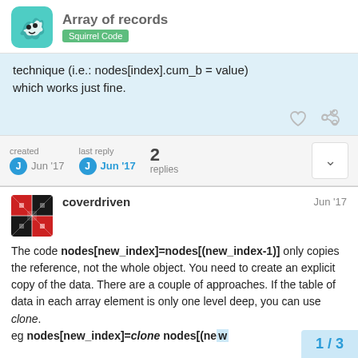Array of records — Squirrel Code
technique (i.e.: nodes[index].cum_b = value) which works just fine.
created Jun '17   last reply Jun '17   2 replies
coverdriven   Jun '17
The code nodes[new_index]=nodes[(new_index-1)] only copies the reference, not the whole object. You need to create an explicit copy of the data. There are a couple of approaches. If the table of data in each array element is only one level deep, you can use clone.
eg nodes[new_index]=clone nodes[(ne…
1 / 3